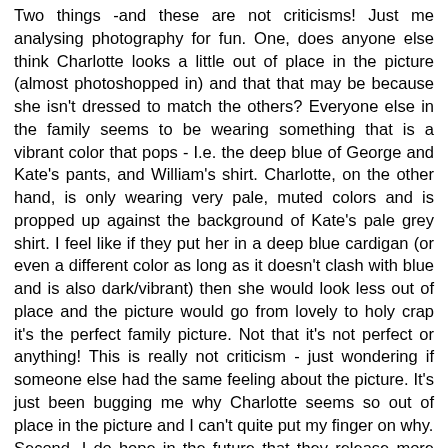Two things -and these are not criticisms! Just me analysing photography for fun. One, does anyone else think Charlotte looks a little out of place in the picture (almost photoshopped in) and that that may be because she isn't dressed to match the others? Everyone else in the family seems to be wearing something that is a vibrant color that pops - I.e. the deep blue of George and Kate's pants, and William's shirt. Charlotte, on the other hand, is only wearing very pale, muted colors and is propped up against the background of Kate's pale grey shirt. I feel like if they put her in a deep blue cardigan (or even a different color as long as it doesn't clash with blue and is also dark/vibrant) then she would look less out of place and the picture would go from lovely to holy crap it's the perfect family picture. Not that it's not perfect or anything! This is really not criticism - just wondering if someone else had the same feeling about the picture. It's just been bugging me why Charlotte seems so out of place in the picture and I can't quite put my finger on why.
Second, I do hope in the future that they release more candid shots instead of these posed ones. Again, I'm not